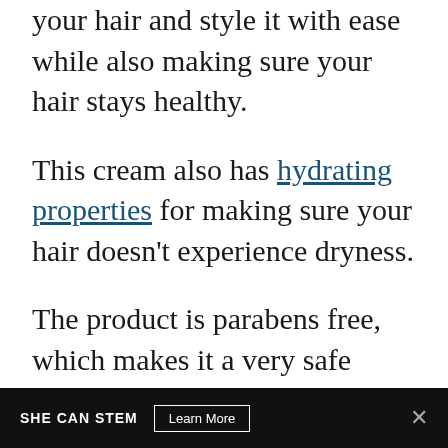your hair and style it with ease while also making sure your hair stays healthy.
This cream also has hydrating properties for making sure your hair doesn't experience dryness.
The product is parabens free, which makes it a very safe product to use.
This is also a very affordable product and we highly recommend it.
SHE CAN STEM  Learn More